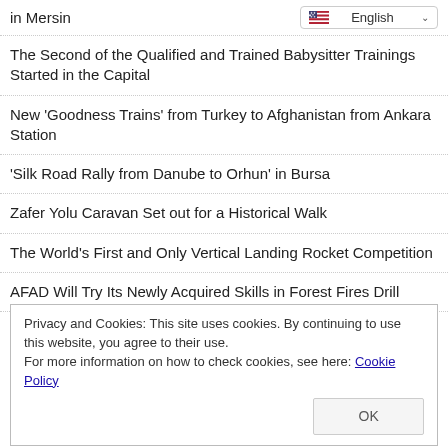in Mersin
English
The Second of the Qualified and Trained Babysitter Trainings Started in the Capital
New 'Goodness Trains' from Turkey to Afghanistan from Ankara Station
'Silk Road Rally from Danube to Orhun' in Bursa
Zafer Yolu Caravan Set out for a Historical Walk
The World's First and Only Vertical Landing Rocket Competition
AFAD Will Try Its Newly Acquired Skills in Forest Fires Drill
Privacy and Cookies: This site uses cookies. By continuing to use this website, you agree to their use.
For more information on how to check cookies, see here: Cookie Policy
OK
Istanbul